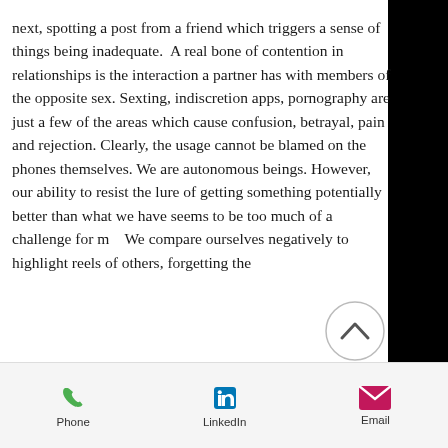next, spotting a post from a friend which triggers a sense of things being inadequate.  A real bone of contention in relationships is the interaction a partner has with members of the opposite sex. Sexting, indiscretion apps, pornography are just a few of the areas which cause confusion, betrayal, pain and rejection. Clearly, the usage cannot be blamed on the phones themselves. We are autonomous beings. However, our ability to resist the lure of getting something potentially better than what we have seems to be too much of a challenge for m… We compare ourselves negatively to… highlight reels of others, forgetting the
Phone   LinkedIn   Email